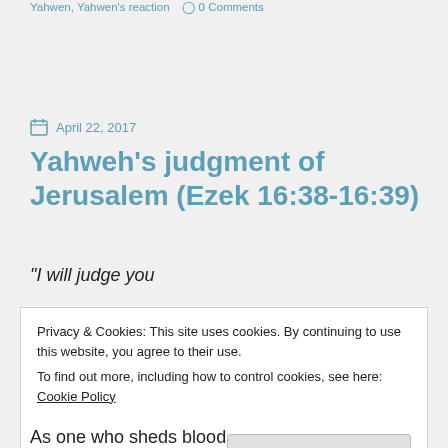Yahwen, Yahwen's reaction   0 Comments
April 22, 2017
Yahweh's judgment of Jerusalem (Ezek 16:38-16:39)
“I will judge you
Privacy & Cookies: This site uses cookies. By continuing to use this website, you agree to their use. To find out more, including how to control cookies, see here: Cookie Policy
Close and accept
As one who sheds blood